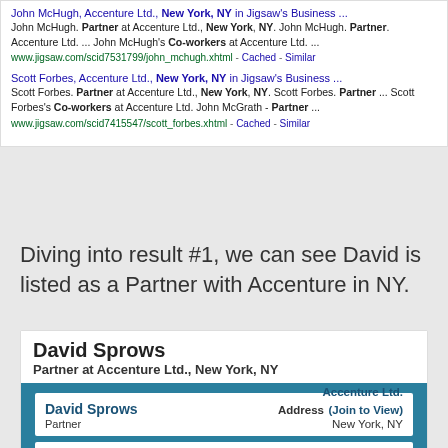[Figure (screenshot): Google search results showing two results for Accenture partners in New York, NY on Jigsaw's Business directory. Result 1: John McHugh, Partner at Accenture Ltd., New York, NY. Result 2: Scott Forbes, Partner at Accenture Ltd., New York, NY.]
Diving into result #1, we can see David is listed as a Partner with Accenture in NY.
[Figure (screenshot): Jigsaw profile card for David Sprows, Partner at Accenture Ltd., New York, NY. Shows name, title, company link, address (Join to View), New York NY, Phone (Join to View), Email (Join to View).]